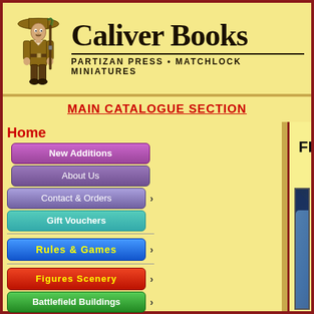[Figure (logo): Caliver Books logo with soldier illustration and text 'PARTIZAN PRESS • MATCHLOCK MINIATURES']
MAIN CATALOGUE SECTION
Home
New Additions
About Us
Contact & Orders
Gift Vouchers
RULES & GAMES
FIGURES SCENERY
Battlefield Buildings
NEW BOOKS
MAGAZINES
FROSTGRAVE : BLOOD LEGACY
[Figure (illustration): Frostgrave Second Edition Blood Legacy book cover showing fantasy characters in a wintry setting with fire and ice]